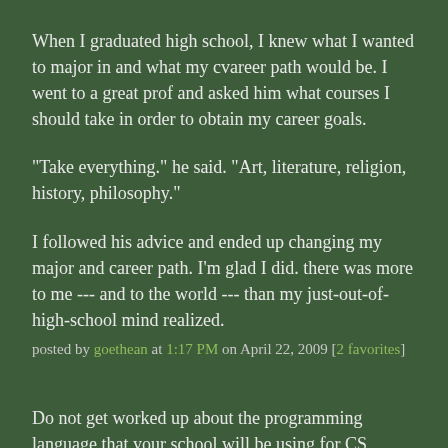When I graduated high school, I knew what I wanted to major in and what my cvareer path would be. I went to a great prof and asked him what courses I should take in order to obtain my career goals.
"Take everything." he said. "Art, literature, religion, history, philosophy."
I followed his advice and ended up changing my major and career path. I'm glad I did. there was more to me --- and to the world --- than my just-out-of-high-school mind realized.
posted by goethean at 1:17 PM on April 22, 2009 [2 favorites]
Do not get worked up about the programming language that your school will be using for CS instruction. Believe me, you will take classes that would "murder your passion with repetitive and pedantic details" even if you were writing